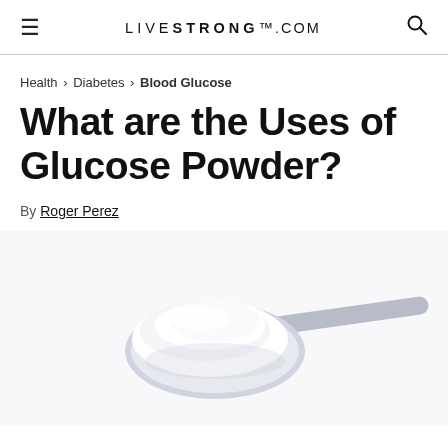LIVESTRONG.COM
Health › Diabetes › Blood Glucose
What are the Uses of Glucose Powder?
By Roger Perez
[Figure (photo): A close-up photo of white glucose powder heaped on a metal spoon against a white background]